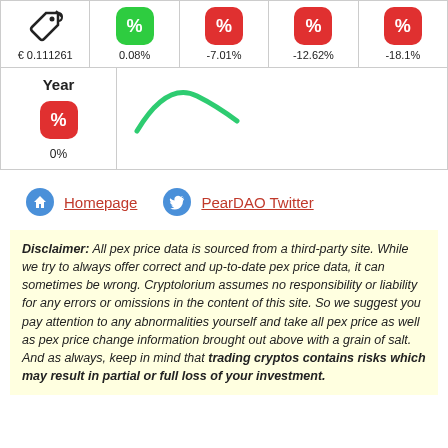[Figure (infographic): Row of 5 cells: price tag icon with value € 0.111261, green % badge with 0.08%, red % badge with -7.01%, red % badge with -12.62%, red % badge with -18.1%]
[Figure (infographic): Year cell with red % badge showing 0%, and partial green arc chart next to it]
Homepage   PearDAO Twitter
Disclaimer: All pex price data is sourced from a third-party site. While we try to always offer correct and up-to-date pex price data, it can sometimes be wrong. Cryptolorium assumes no responsibility or liability for any errors or omissions in the content of this site. So we suggest you pay attention to any abnormalities yourself and take all pex price as well as pex price change information brought out above with a grain of salt. And as always, keep in mind that trading cryptos contains risks which may result in partial or full loss of your investment.